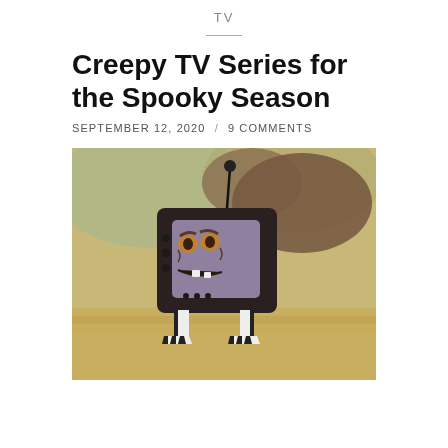TV
Creepy TV Series for the Spooky Season
SEPTEMBER 12, 2020 / 9 COMMENTS
[Figure (illustration): Cartoon illustration of an angry anthropomorphic TV set with a menacing face, walking on skeletal legs, against a painted background of earth tones and greenish clouds.]